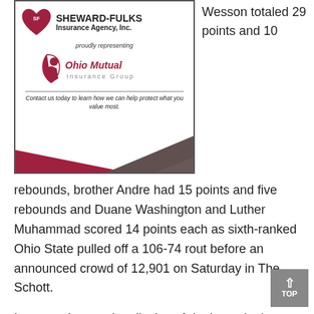[Figure (logo): Sheward-Fulks Insurance Agency, Inc. advertisement featuring Ohio Mutual Insurance Group logo, decorative bottom triangles in dark red and gray, with contact text.]
Wesson totaled 29 points and 10
rebounds, brother Andre had 15 points and five rebounds and Duane Washington and Luther Muhammad scored 14 points each as sixth-ranked Ohio State pulled off a 106-74 rout before an announced crowd of 12,901 on Saturday in The Schott.
It was an impressive display of dunks and other